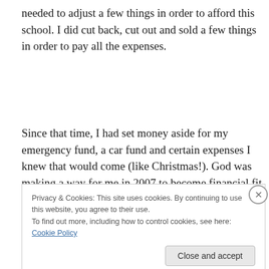needed to adjust a few things in order to afford this school. I did cut back, cut out and sold a few things in order to pay all the expenses.
Since that time, I had set money aside for my emergency fund, a car fund and certain expenses I knew that would come (like Christmas!). God was making a way for me in 2007 to become financial fit for such a time as this. As I
Privacy & Cookies: This site uses cookies. By continuing to use this website, you agree to their use.
To find out more, including how to control cookies, see here: Cookie Policy